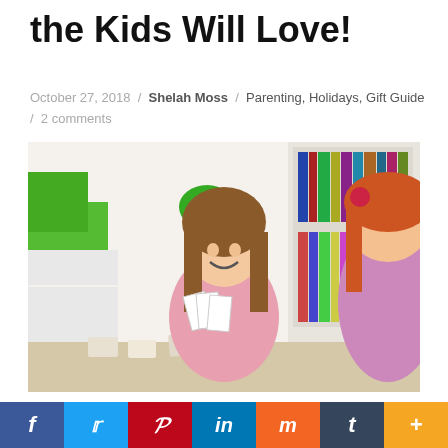the Kids Will Love!
October 27, 2018 / Shelah Moss / Parenting, Holidays, Gift Guide / 2 comments
[Figure (photo): Two girls playing a card game at a table, one facing camera smiling and holding cards, bookshelves visible in background]
Learning Through Play...
[Figure (infographic): Social media sharing bar with icons for Facebook, Twitter, Pinterest, LinkedIn, Mix, Tumblr, and More]